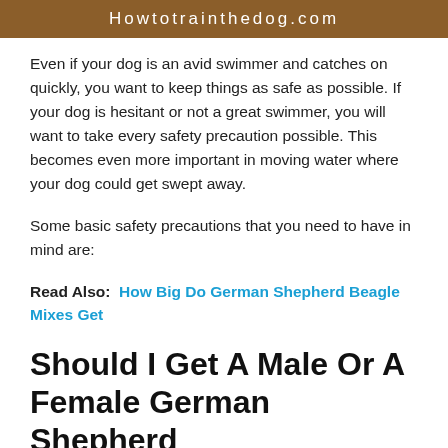Howtotrainthedog.com
Even if your dog is an avid swimmer and catches on quickly, you want to keep things as safe as possible. If your dog is hesitant or not a great swimmer, you will want to take every safety precaution possible. This becomes even more important in moving water where your dog could get swept away.
Some basic safety precautions that you need to have in mind are:
Read Also: How Big Do German Shepherd Beagle Mixes Get
Should I Get A Male Or A Female German Shepherd